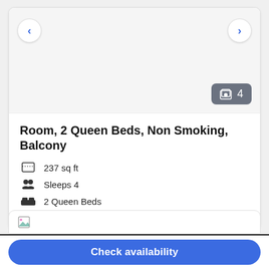[Figure (screenshot): Hotel room listing card with navigation arrows, photo count badge showing 4, room title, amenity icons and details, More details link, and Choose your dates button]
Room, 2 Queen Beds, Non Smoking, Balcony
237 sq ft
Sleeps 4
2 Queen Beds
More details >
Choose your dates
Check availability